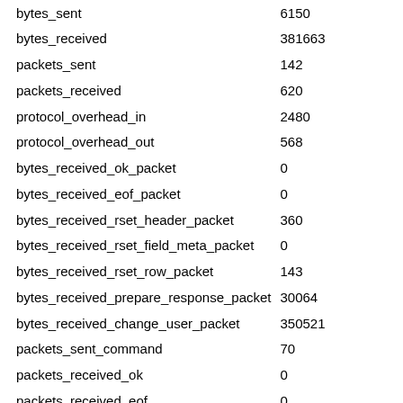| metric | value |
| --- | --- |
| bytes_sent | 6150 |
| bytes_received | 381663 |
| packets_sent | 142 |
| packets_received | 620 |
| protocol_overhead_in | 2480 |
| protocol_overhead_out | 568 |
| bytes_received_ok_packet | 0 |
| bytes_received_eof_packet | 0 |
| bytes_received_rset_header_packet | 360 |
| bytes_received_rset_field_meta_packet | 0 |
| bytes_received_rset_row_packet | 143 |
| bytes_received_prepare_response_packet | 30064 |
| bytes_received_change_user_packet | 350521 |
| packets_sent_command | 70 |
| packets_received_ok | 0 |
| packets_received_eof | 0 |
| packets_received_rset_header | 40 |
| packets_received_rset_field_meta | 0 |
| packets_received_rset_row | 25 |
| packets_received_prepare_response | 441 |
| packets_received_change_user | 89 |